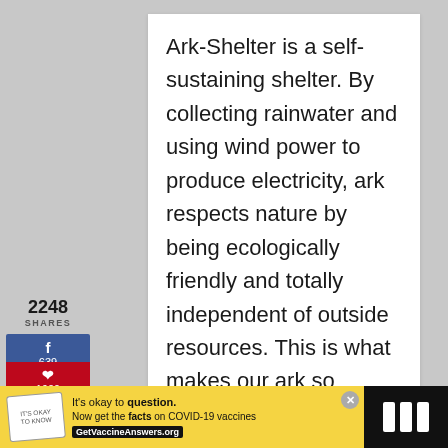Ark-Shelter is a self-sustaining shelter. By collecting rainwater and using wind power to produce electricity, ark respects nature by being ecologically friendly and totally independent of outside resources. This is what makes our ark so unique! Escape the city life
2248
SHARES
639
1609
[Figure (infographic): Right side floating interaction buttons: teal heart button with 2.2K count, and a share button]
[Figure (infographic): What's Next panel with thumbnail image and text: WHAT'S NEXT → How To Build a 400sqft...]
It's okay to question. Now get the facts on COVID-19 vaccines GetVaccineAnswers.org